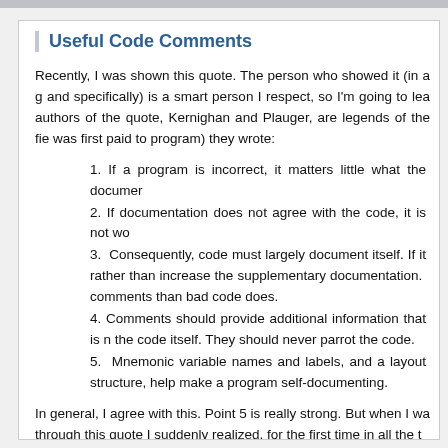Useful Code Comments
Recently, I was shown this quote. The person who showed it (in a g and specifically) is a smart person I respect, so I'm going to lea authors of the quote, Kernighan and Plauger, are legends of the fie was first paid to program) they wrote:
1. If a program is incorrect, it matters little what the documer
2. If documentation does not agree with the code, it is not wo
3. Consequently, code must largely document itself. If it rather than increase the supplementary documentation. comments than bad code does.
4. Comments should provide additional information that is n the code itself. They should never parrot the code.
5. Mnemonic variable names and labels, and a layout structure, help make a program self-documenting.
In general, I agree with this. Point 5 is really strong. But when I wa through this quote I suddenly realized, for the first time in all the t